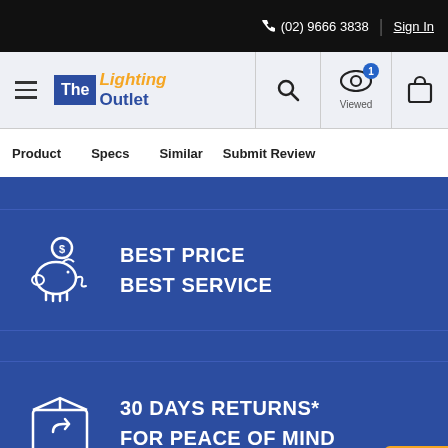(02) 9666 3838 | Sign In
[Figure (logo): The Lighting Outlet logo with blue and orange text]
Product   Specs   Similar   Submit Review
BEST PRICE
BEST SERVICE
30 DAYS RETURNS*
FOR PEACE OF MIND